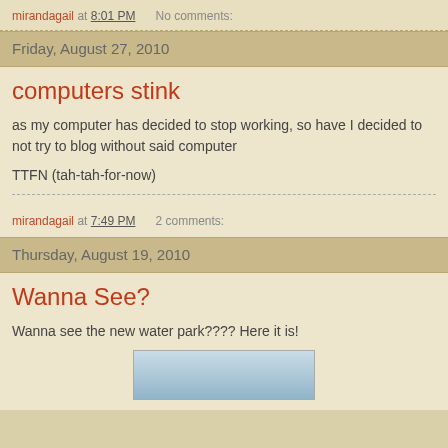mirandagail at 8:01 PM   No comments:
Friday, August 27, 2010
computers stink
as my computer has decided to stop working, so have I decided to not try to blog without said computer
TTFN (tah-tah-for-now)
mirandagail at 7:49 PM   2 comments:
Thursday, August 19, 2010
Wanna See?
Wanna see the new water park???? Here it is!
[Figure (photo): Partial view of a water park photo, mostly blue sky/water tones, cut off at bottom of page]